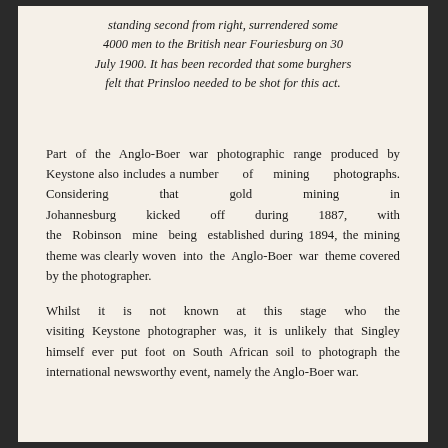standing second from right, surrendered some 4000 men to the British near Fouriesburg on 30 July 1900. It has been recorded that some burghers felt that Prinsloo needed to be shot for this act.
Part of the Anglo-Boer war photographic range produced by Keystone also includes a number of mining photographs. Considering that gold mining in Johannesburg kicked off during 1887, with the Robinson mine being established during 1894, the mining theme was clearly woven into the Anglo-Boer war theme covered by the photographer.
Whilst it is not known at this stage who the visiting Keystone photographer was, it is unlikely that Singley himself ever put foot on South African soil to photograph the international newsworthy event, namely the Anglo-Boer war.